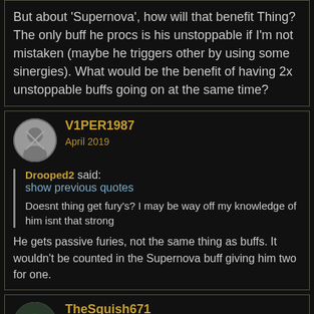But about 'Supernova', how will that benefit Thing? The only buff he procs is his unstoppable if I'm not mistaken (maybe he triggers other by using some sinergies). What would be the benefit of having 2x unstoppable buffs going on at the same time?
V1PER1987
April 2019
Drooped2 said:
show previous quotes
Doesnt thing get fury's? I may be way off my knowledge of him isnt that strong
He gets passive furies, not the same thing as buffs. It wouldn't be counted in the Supernova buff giving him two for one.
TheSquish671
April 2019
Will we be allowed to do this variant without completing the